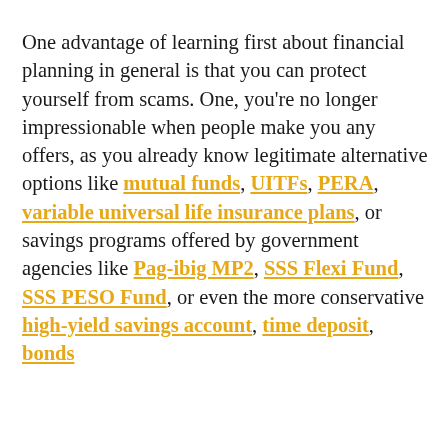One advantage of learning first about financial planning in general is that you can protect yourself from scams. One, you're no longer impressionable when people make you any offers, as you already know legitimate alternative options like mutual funds, UITFs, PERA, variable universal life insurance plans, or savings programs offered by government agencies like Pag-ibig MP2, SSS Flexi Fund, SSS PESO Fund, or even the more conservative high-yield savings account, time deposit, bonds